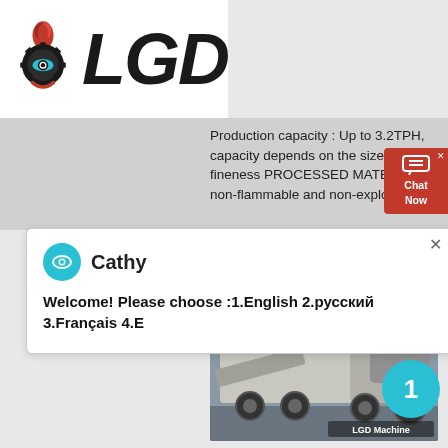[Figure (logo): LGD company logo with flame/gear icon in red and dark gray bold italic LGD text]
Production capacity : Up to 3.2TPH, capacity depends on the size of fineness PROCESSED MATERIALS non-flammable and non-explosive stu
[Figure (screenshot): Chat widget showing red 'Chat Now' button with chat bubble icon and close X, and a popup chat window with agent 'Cathy' and message: Welcome! Please choose :1.English 2.русский 3.Français 4.E]
[Figure (photo): LGD mobile crushing machine on truck in industrial facility, labeled 'LGD Machine' in bottom right corner]
[Figure (other): Teal circle badge with number 1]